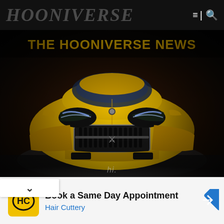HOONIVERSE
THE HOONIVERSE NEWS
[Figure (photo): Front view of a yellow Maserati sports car in a dark dramatic studio setting with 'hi.' watermark]
hi.
Book a Same Day Appointment
Hair Cuttery